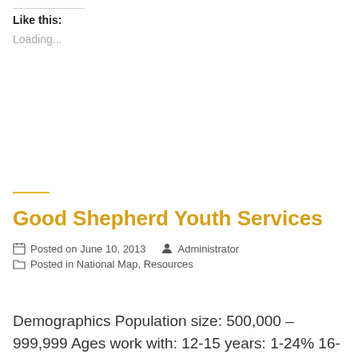Like this:
Loading...
Good Shepherd Youth Services
Posted on June 10, 2013   Administrator
Posted in National Map, Resources
Demographics Population size: 500,000 – 999,999 Ages work with: 12-15 years: 1-24% 16-24 years: 75-100% Does your organization have multiple sites/locations: